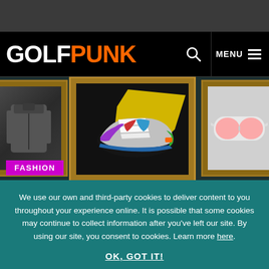[Figure (screenshot): Dark gray top bar area of website]
GOLFPUNK
[Figure (photo): Hero banner showing three gold picture frames on a dark teal background: left frame contains a gray jacket, center frame contains a colorful Adidas golf shoe with yellow paint splash, right frame contains sport sunglasses. A magenta 'FASHION' label tag appears at the bottom left.]
We use our own and third-party cookies to deliver content to you throughout your experience online. It is possible that some cookies may continue to collect information after you've left our site. By using our site, you consent to cookies. Learn more here.
OK, GOT IT!